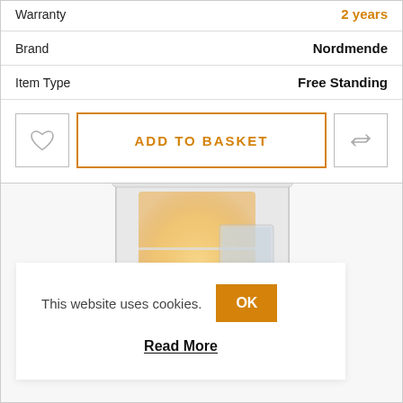| Attribute | Value |
| --- | --- |
| Brand | Nordmende |
| Item Type | Free Standing |
[Figure (screenshot): Add to basket action row with heart/wishlist button, orange-bordered ADD TO BASKET button, and compare/recycle icon button]
[Figure (photo): Open refrigerator with internal lighting showing shelves and a drawer compartment, partially visible product inside]
This website uses cookies.
OK
Read More